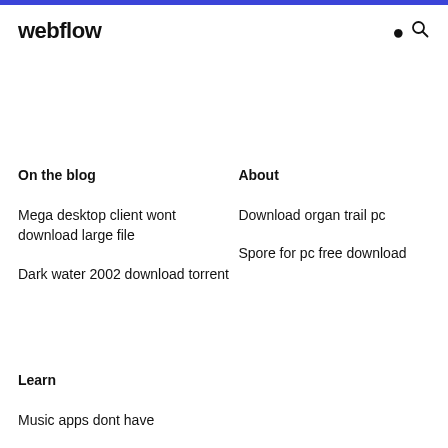webflow
On the blog
About
Mega desktop client wont download large file
Download organ trail pc
Dark water 2002 download torrent
Spore for pc free download
Learn
Music apps dont have